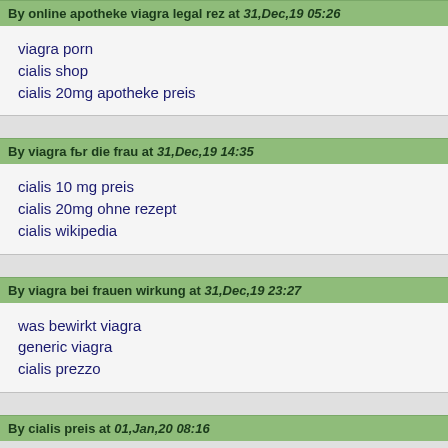By online apotheke viagra legal rez at 31,Dec,19 05:26
viagra porn
cialis shop
cialis 20mg apotheke preis
By viagra fьr die frau at 31,Dec,19 14:35
cialis 10 mg preis
cialis 20mg ohne rezept
cialis wikipedia
By viagra bei frauen wirkung at 31,Dec,19 23:27
was bewirkt viagra
generic viagra
cialis prezzo
By cialis preis at 01,Jan,20 08:16